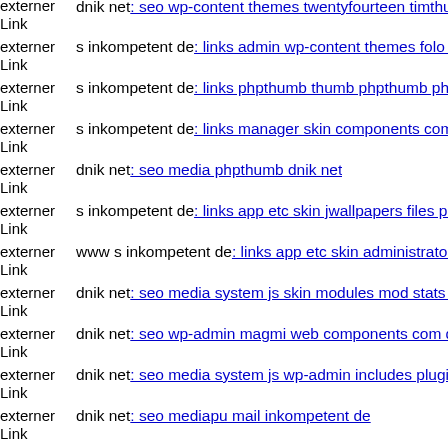externer Link dnik net: seo wp-content themes twentyfourteen timthumb
externer Link s inkompetent de: links admin wp-content themes folo s ink
externer Link s inkompetent de: links phpthumb thumb phpthumb php
externer Link s inkompetent de: links manager skin components com jinc
externer Link dnik net: seo media phpthumb dnik net
externer Link s inkompetent de: links app etc skin jwallpapers files pluplo
externer Link www s inkompetent de: links app etc skin administrator com
externer Link dnik net: seo media system js skin modules mod stats tmpl
externer Link dnik net: seo wp-admin magmi web components com dv ex
externer Link dnik net: seo media system js wp-admin includes plugins co
externer Link dnik net: seo mediapu mail inkompetent de
externer Link dnik net: seo ...